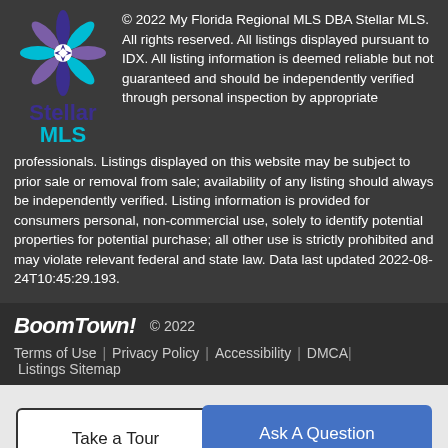[Figure (logo): Stellar MLS logo — decorative snowflake/star shape in purple, blue, and teal colors, with 'Stellar' in dark purple and 'MLS' in teal below]
© 2022 My Florida Regional MLS DBA Stellar MLS. All rights reserved. All listings displayed pursuant to IDX. All listing information is deemed reliable but not guaranteed and should be independently verified through personal inspection by appropriate professionals. Listings displayed on this website may be subject to prior sale or removal from sale; availability of any listing should always be independently verified. Listing information is provided for consumers personal, non-commercial use, solely to identify potential properties for potential purchase; all other use is strictly prohibited and may violate relevant federal and state law. Data last updated 2022-08-24T10:45:29.193.
BoomTown! © 2022
Terms of Use | Privacy Policy | Accessibility | DMCA | Listings Sitemap